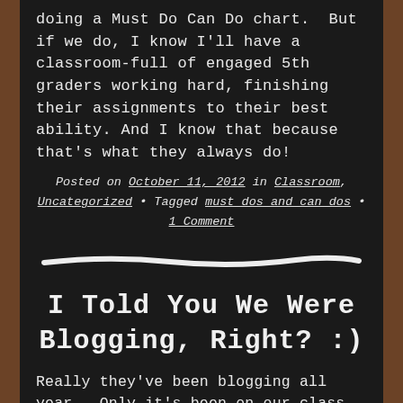doing a Must Do Can Do chart.  But if we do, I know I'll have a classroom-full of engaged 5th graders working hard, finishing their assignments to their best ability. And I know that because that's what they always do!
Posted on October 11, 2012 in Classroom, Uncategorized • Tagged must dos and can dos • 1 Comment
[Figure (illustration): A hand-drawn white chalk horizontal line divider on a chalkboard background]
I Told You We Were Blogging, Right? :)
Really they've been blogging all year.  Only it's been on our class blog.  A few short weeks ago now, though, our